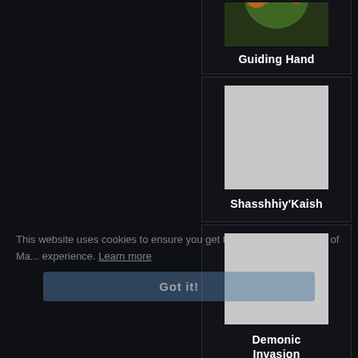[Figure (screenshot): Game card for 'Guiding Hand' showing a colorful game artwork thumbnail (green/pink/orange tones) at the top, partially cut off at the top of the page, with white bold text 'Guiding Hand' below on dark background]
[Figure (screenshot): Game card for 'Shasshhiy'Kaish' showing a gray placeholder image square and white bold text label below on dark background]
[Figure (screenshot): Game card for 'Demonic Invasion' showing a gray placeholder image square and white bold text label partially visible below on dark background]
[Figure (screenshot): Game card partially visible at bottom, showing only a gray placeholder image, label cut off]
This website uses cookies to ensure you get the best possible Tales of Ma... experience. Learn more
Got it!